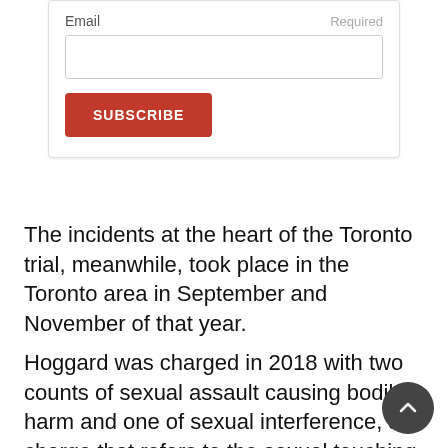[Figure (screenshot): Email subscription form with label 'Email', 'Required' text, a blank text input field, and a red SUBSCRIBE button]
The incidents at the heart of the Toronto trial, meanwhile, took place in the Toronto area in September and November of that year.
Hoggard was charged in 2018 with two counts of sexual assault causing bodily harm and one of sexual interference, a charge that refers to the sexual touching of a person under 16. He has pleaded not guilty to all charges.